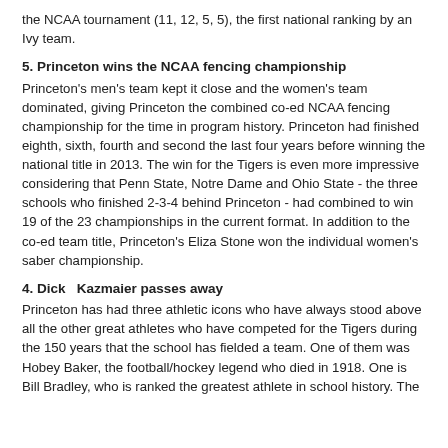the NCAA tournament (11, 12, 5, 5), the first national ranking by an Ivy team.
5. Princeton wins the NCAA fencing championship
Princeton's men's team kept it close and the women's team dominated, giving Princeton the combined co-ed NCAA fencing championship for the time in program history. Princeton had finished eighth, sixth, fourth and second the last four years before winning the national title in 2013. The win for the Tigers is even more impressive considering that Penn State, Notre Dame and Ohio State - the three schools who finished 2-3-4 behind Princeton - had combined to win 19 of the 23 championships in the current format. In addition to the co-ed team title, Princeton's Eliza Stone won the individual women's saber championship.
4. Dick  Kazmaier passes away
Princeton has had three athletic icons who have always stood above all the other great athletes who have competed for the Tigers during the 150 years that the school has fielded a team. One of them was Hobey Baker, the football/hockey legend who died in 1918. One is Bill Bradley, who is ranked the greatest athlete in school history. The